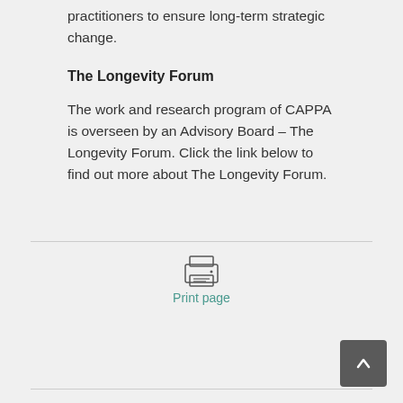practitioners to ensure long-term strategic change.
The Longevity Forum
The work and research program of CAPPA is overseen by an Advisory Board – The Longevity Forum. Click the link below to find out more about The Longevity Forum.
[Figure (illustration): Printer icon with horizontal lines representing paper]
Print page
[Figure (illustration): Back to top button: dark grey square with upward arrow]